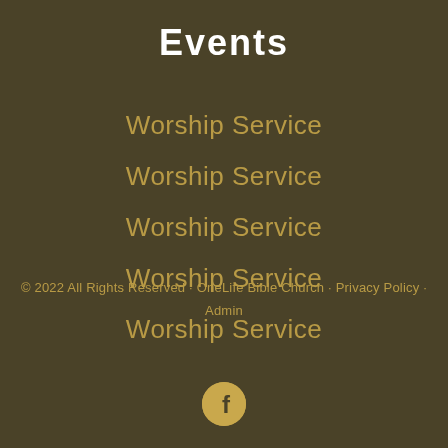Events
Worship Service
Worship Service
Worship Service
Worship Service
Worship Service
© 2022 All Rights Reserved · OneLife Bible Church · Privacy Policy · Admin
[Figure (logo): Facebook social media icon — circular gold button with white 'f' letter]